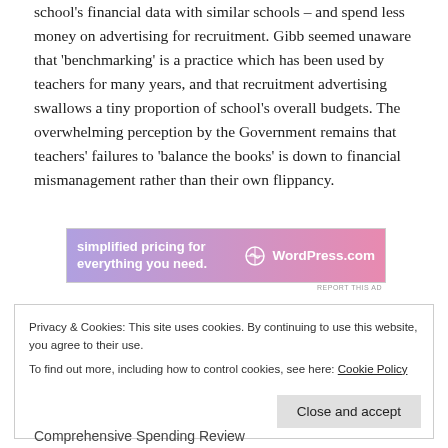school's financial data with similar schools – and spend less money on advertising for recruitment. Gibb seemed unaware that 'benchmarking' is a practice which has been used by teachers for many years, and that recruitment advertising swallows a tiny proportion of school's overall budgets. The overwhelming perception by the Government remains that teachers' failures to 'balance the books' is down to financial mismanagement rather than their own flippancy.
[Figure (other): WordPress.com advertisement banner: 'simplified pricing for everything you need.' with WordPress.com logo]
REPORT THIS AD
Privacy & Cookies: This site uses cookies. By continuing to use this website, you agree to their use. To find out more, including how to control cookies, see here: Cookie Policy
Close and accept
Comprehensive Spending Review